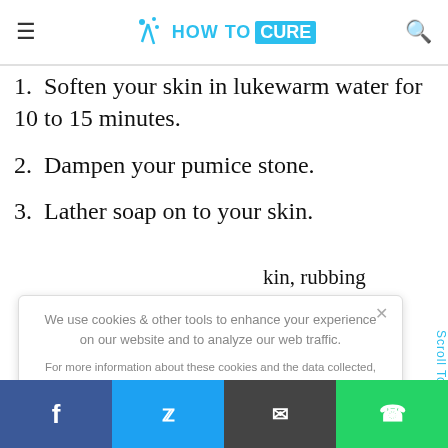HOW TO CURE
1. Soften your skin in lukewarm water for 10 to 15 minutes.
2. Dampen your pumice stone.
3. Lather soap on to your skin.
kin, rubbing away hairs.
been taken
usiness, stop
We use cookies & other tools to enhance your experience on our website and to analyze our web traffic. For more information about these cookies and the data collected, please refer to our Privacy Policy.
I ACCEPT USE OF COOKIES